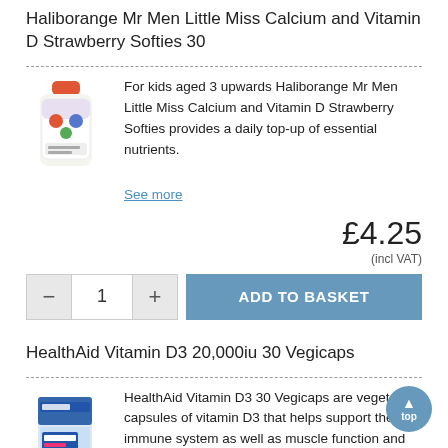Haliborange Mr Men Little Miss Calcium and Vitamin D Strawberry Softies 30
[Figure (photo): Product bottle of Haliborange Mr Men Little Miss Calcium and Vitamin D Strawberry Softies 30]
For kids aged 3 upwards Haliborange Mr Men Little Miss Calcium and Vitamin D Strawberry Softies provides a daily top-up of essential nutrients.
See more
£4.25
(incl VAT)
– 1 + ADD TO BASKET
HealthAid Vitamin D3 20,000iu 30 Vegicaps
[Figure (photo): Product box of HealthAid Vitamin D3 20,000iu 30 Vegicaps]
HealthAid Vitamin D3 30 Vegicaps are vegetarian capsules of vitamin D3 that helps support the immune system as well as muscle function and the absorption of calcium by the body.
See more